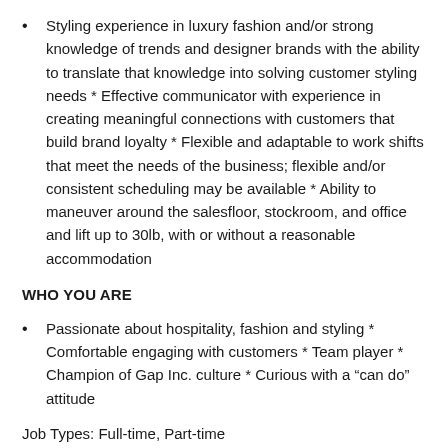Styling experience in luxury fashion and/or strong knowledge of trends and designer brands with the ability to translate that knowledge into solving customer styling needs * Effective communicator with experience in creating meaningful connections with customers that build brand loyalty * Flexible and adaptable to work shifts that meet the needs of the business; flexible and/or consistent scheduling may be available * Ability to maneuver around the salesfloor, stockroom, and office and lift up to 30lb, with or without a reasonable accommodation
WHO YOU ARE
Passionate about hospitality, fashion and styling * Comfortable engaging with customers * Team player * Champion of Gap Inc. culture * Curious with a “can do” attitude
Job Types: Full-time, Part-time
Pay: From $14.00 per hour